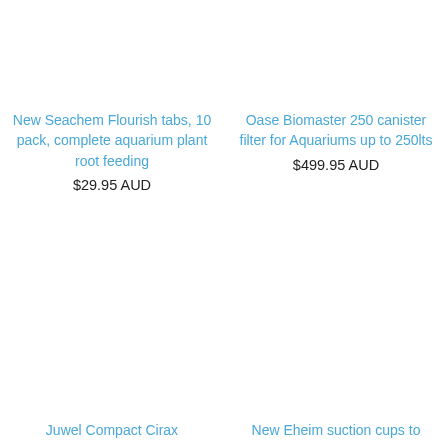New Seachem Flourish tabs, 10 pack, complete aquarium plant root feeding
$29.95 AUD
Oase Biomaster 250 canister filter for Aquariums up to 250lts
$499.95 AUD
Juwel Compact Cirax
New Eheim suction cups to